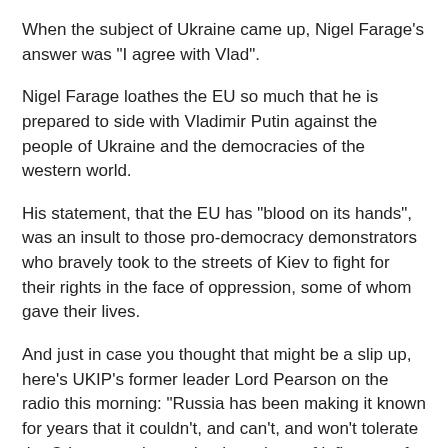When the subject of Ukraine came up, Nigel Farage's answer was "I agree with Vlad".
Nigel Farage loathes the EU so much that he is prepared to side with Vladimir Putin against the people of Ukraine and the democracies of the western world.
His statement, that the EU has "blood on its hands", was an insult to those pro-democracy demonstrators who bravely took to the streets of Kiev to fight for their rights in the face of oppression, some of whom gave their lives.
And just in case you thought that might be a slip up, here's UKIP's former leader Lord Pearson on the radio this morning: "Russia has been making it known for years that it couldn't, and can't, and won't tolerate the Crimea coming under the sphere of influence of the corrupt octopus in Brussels...I think Nigel Farage is right to point that out and the instigator of this crisis is in fact Brussels